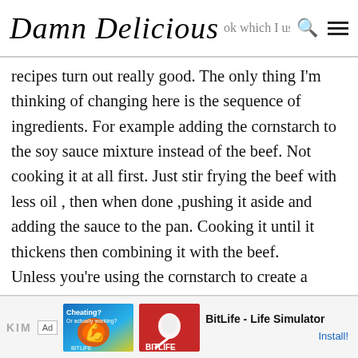Damn Delicious
recipes turn out really good. The only thing I'm thinking of changing here is the sequence of ingredients. For example adding the cornstarch to the soy sauce mixture instead of the beef. Not cooking it at all first. Just stir frying the beef with less oil , then when done ,pushing it aside and adding the sauce to the pan. Cooking it until it thickens then combining it with the beef.
Unless you're using the cornstarch to create a coating for the beef. Either way, awesome recipe. Can't wait to try it! Thanks!
[Figure (other): Advertisement banner: Ad badge, BitLife - Life Simulator game ad with muscle arm graphic and sperm cell logo on red background, Install button]